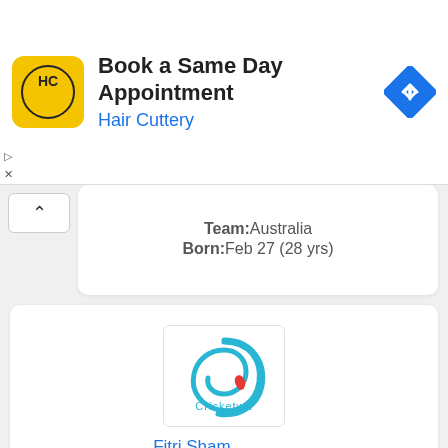[Figure (screenshot): Hair Cuttery advertisement banner with logo and 'Book a Same Day Appointment' text]
Team:Australia
Born:Feb 27 (28 yrs)
[Figure (logo): Cricketwa logo - blue swirl with red droplet]
Fitri Sham
Team:Malaysia
Born:Feb 26 (28 yrs)
[Figure (logo): Cricketwa logo - blue swirl with red droplet (partial)]